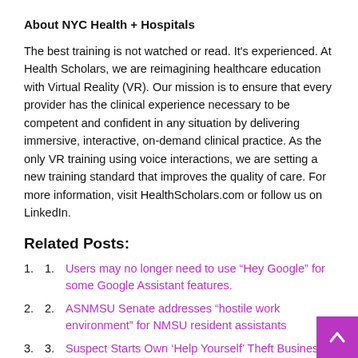About NYC Health + Hospitals
The best training is not watched or read. It’s experienced. At Health Scholars, we are reimagining healthcare education with Virtual Reality (VR). Our mission is to ensure that every provider has the clinical experience necessary to be competent and confident in any situation by delivering immersive, interactive, on-demand clinical practice. As the only VR training using voice interactions, we are setting a new training standard that improves the quality of care. For more information, visit HealthScholars.com or follow us on LinkedIn.
Related Posts:
Users may no longer need to use “Hey Google” for some Google Assistant features.
ASNMSU Senate addresses “hostile work environment” for NMSU resident assistants
Suspect Starts Own ‘Help Yourself’ Theft Business at Lowes